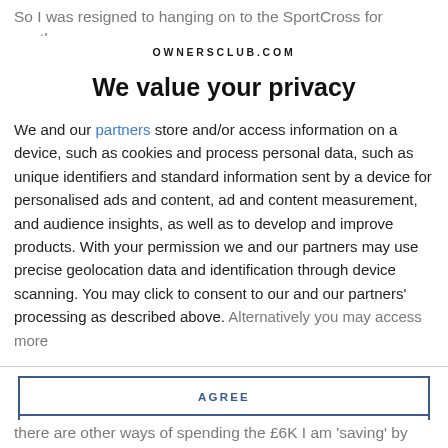So I was resigned to hanging on to the SportCross for another
OWNERSCLUB.COM
We value your privacy
We and our partners store and/or access information on a device, such as cookies and process personal data, such as unique identifiers and standard information sent by a device for personalised ads and content, ad and content measurement, and audience insights, as well as to develop and improve products. With your permission we and our partners may use precise geolocation data and identification through device scanning. You may click to consent to our and our partners' processing as described above. Alternatively you may access more
AGREE
MORE OPTIONS
there are other ways of spending the £6K I am 'saving' by